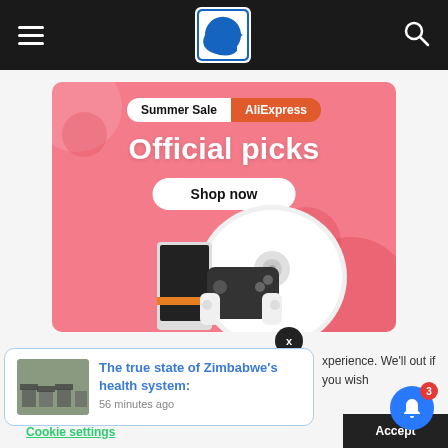GizmoChina website header with hamburger menu, logo, and search icon
[Figure (infographic): AliExpress Summer Sale advertisement banner. Pink background with 'Summer Sale AliExpress' badges, 'Official picks' heading, 'Shop now' button, and product images including a robot vacuum and gaming console.]
x
[Figure (screenshot): Notification popup showing article thumbnail and title 'The true state of Zimbabwe's health system:' with timestamp '56 minutes ago']
xperience. We'll out if you wish
Cookie settings  Accept